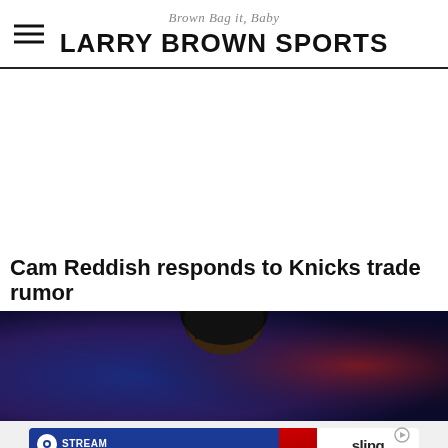Brown Bag it, Baby
LARRY BROWN SPORTS
Cam Reddish responds to Knicks trade rumor
[Figure (photo): Close-up photo of a basketball player's head from above, dark blue and red blurred background]
[Figure (other): Advertisement banner: STREAM COLLEGE FOOTBALL FOR THE BEST PRICE, ESPN, Sling WATCH LIVE]